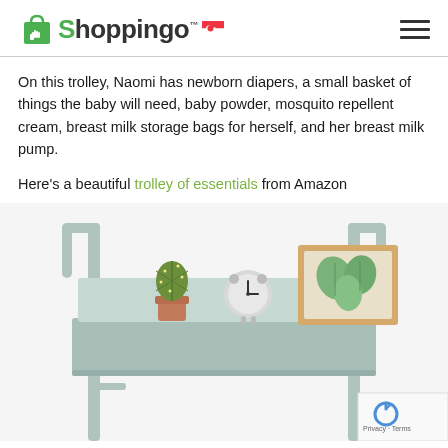Shoppingo (Singapore) — navigation header with logo and hamburger menu
On this trolley, Naomi has newborn diapers, a small basket of things the baby will need, baby powder, mosquito repellent cream, breast milk storage bags for herself, and her breast milk pump.
Here's a beautiful trolley of essentials from Amazon
[Figure (photo): A light mint/sage green metal utility trolley with handles on both sides, top shelf holding a small cactus in a terracotta pot, an alarm clock, and a framed botanical print with monstera leaves. The image is cropped showing approximately the top two-thirds of the trolley.]